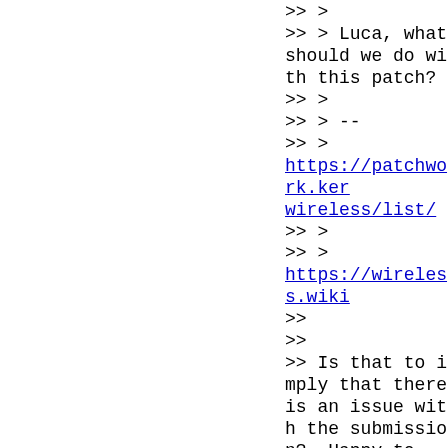>> >
>> > Luca, what should we do with this patch?
>> >
>> > --
>> >
https://patchwork.kernel.org/project/linux-wireless/list/
>> >
>> >
https://wireless.wiki.kernel.org/
>>
>>
>> Is that to imply that there is an issue with the submission?  Happy to
>> fix any problems, but it would nice to get this in soon.  I know the
>> 5.14 merge window was already opened when I sent it, but the 5.15 MR
>> is opening soon.  Hardware is
definitely hi...